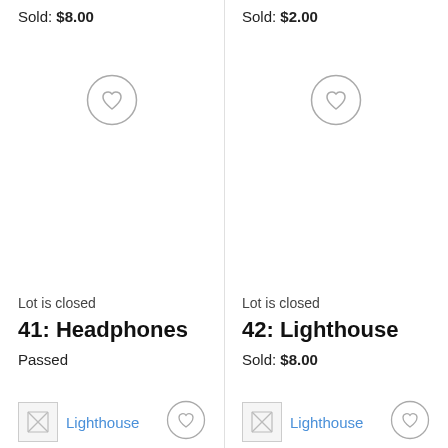Sold: $8.00
Sold: $2.00
[Figure (illustration): Heart icon inside a circle (left column wishlist button)]
[Figure (illustration): Heart icon inside a circle (right column wishlist button)]
Lot is closed
Lot is closed
41: Headphones
42: Lighthouse
Passed
Sold: $8.00
[Figure (illustration): Broken image placeholder with Lighthouse label (left bottom)]
[Figure (illustration): Broken image placeholder with Lighthouse label (right bottom)]